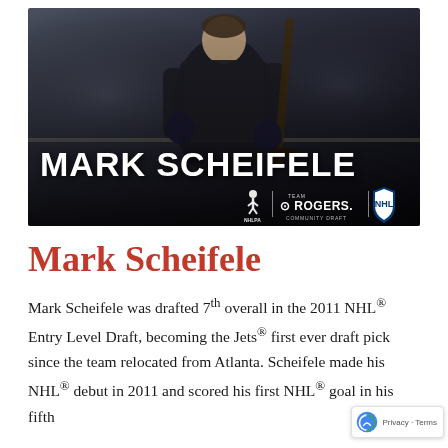[Figure (photo): Mark Scheifele hockey player standing in an indoor rink holding a stick, wearing dark clothing. White bold text 'MARK SCHEIFELE' overlaid. Bottom-right logos: NHLPA player icon, vertical divider, Team Rogers Community Draft logo, NHL shield.]
Mark Scheifele
Mark Scheifele was drafted 7th overall in the 2011 NHL® Entry Level Draft, becoming the Jets® first ever draft pick since the team relocated from Atlanta. Scheifele made his NHL® debut in 2011 and scored his first NHL® goal in his fifth